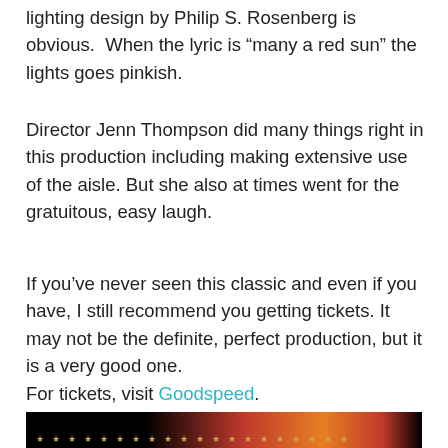lighting design by Philip S. Rosenberg is obvious.  When the lyric is “many a red sun” the lights goes pinkish.
Director Jenn Thompson did many things right in this production including making extensive use of the aisle. But she also at times went for the gratuitous, easy laugh.
If you’ve never seen this classic and even if you have, I still recommend you getting tickets. It may not be the definite, perfect production, but it is a very good one.
For tickets, visit Goodspeed.
[Figure (photo): Dark image showing stars on a flag-like background with orange and red gradient colors]